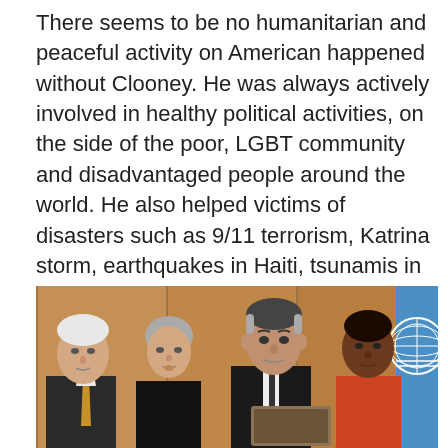There seems to be no humanitarian and peaceful activity on American happened without Clooney. He was always actively involved in healthy political activities, on the side of the poor, LGBT community and disadvantaged people around the world. He also helped victims of disasters such as 9/11 terrorism, Katrina storm, earthquakes in Haiti, tsunamis in Indonesia. He also often gives a speech in propaganda in many places to fight for peace.
[Figure (photo): Photo of four people standing together in what appears to be a formal setting with wood-paneled walls and a UN flag visible on the right. From left: an older white-haired man in a suit with a gold tie, a woman with short gray hair in a black outfit, a man in a dark suit (George Clooney), and a Black woman in a red/orange outfit. They appear to be at a United Nations event.]